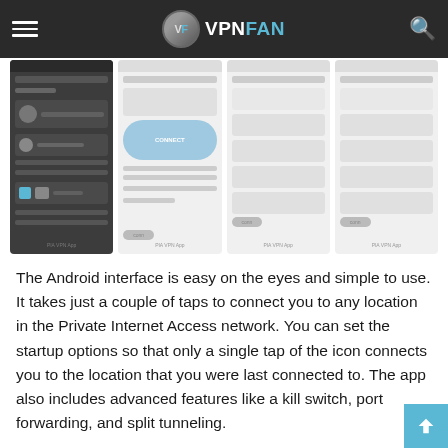VF VPNFAN
[Figure (screenshot): Four smartphone screenshots showing the Private Internet Access Android app interface, displayed as a grid of four panels with blurred/greyed out UI elements.]
The Android interface is easy on the eyes and simple to use. It takes just a couple of taps to connect you to any location in the Private Internet Access network. You can set the startup options so that only a single tap of the icon connects you to the location that you were last connected to. The app also includes advanced features like a kill switch, port forwarding, and split tunneling.